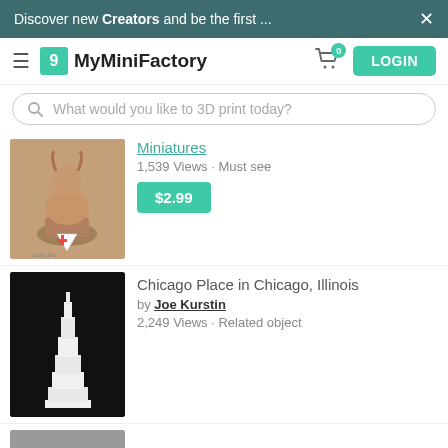Discover new Creators and be the first ... ×
[Figure (logo): MyMiniFactory logo and navigation bar with hamburger menu, cart icon with badge 0, and LOGIN button]
What would you like to 3D print today?
[Figure (photo): 3D printed fantasy female miniature figurine in brown/tan color, shown from chest up with horns]
Miniatures
1,539 Views · Must see
$2.99
[Figure (photo): 3D printed white architectural model of Chicago Place skyscraper on black background]
Chicago Place in Chicago, Illinois
by Joe Kurstin
2,249 Views · Related object